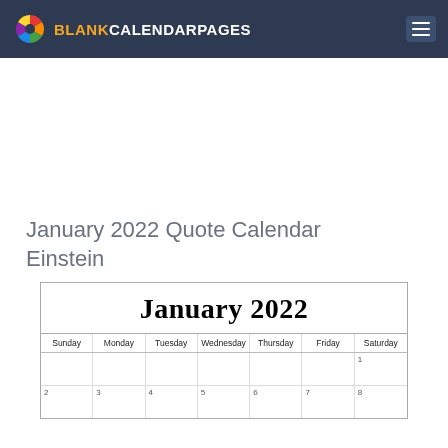BLANK CALENDARPAGES
January 2022 Quote Calendar Einstein
| Sunday | Monday | Tuesday | Wednesday | Thursday | Friday | Saturday |
| --- | --- | --- | --- | --- | --- | --- |
|  |  |  |  |  |  | 1 |
| 2 | 3 | 4 | 5 | 6 | 7 | 8 |